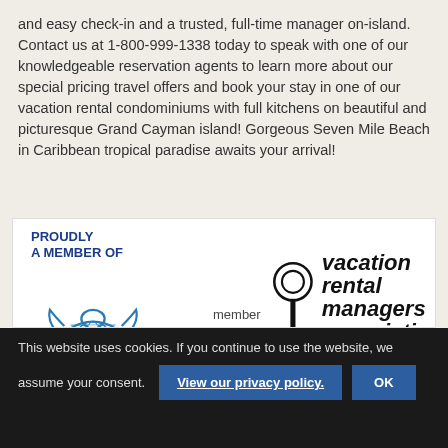and easy check-in and a trusted, full-time manager on-island. Contact us at 1-800-999-1338 today to speak with one of our knowledgeable reservation agents to learn more about our special pricing travel offers and book your stay in one of our vacation rental condominiums with full kitchens on beautiful and picturesque Grand Cayman island! Gorgeous Seven Mile Beach in Caribbean tropical paradise awaits your arrival!
[Figure (logo): Proudly a Member of section containing CITA (Cayman Islands Tourism Association) turtle logo with text 'C I T A' below, and Vacation Rental Managers Association logo with key icon and bold italic text 'vacation rental managers association' with 'member' text]
This website uses cookies. If you continue to use the website, we assume your consent. View our privacy policy. OK